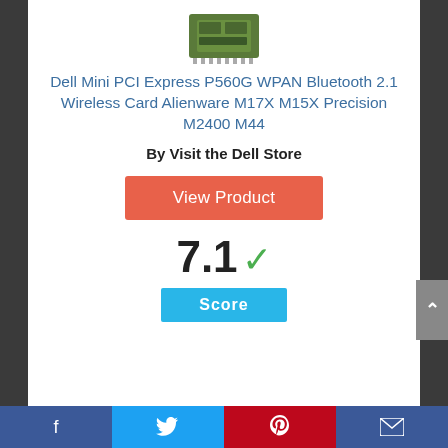[Figure (photo): Small green wireless card chip (Dell Mini PCI Express P560G) shown from above on white background]
Dell Mini PCI Express P560G WPAN Bluetooth 2.1 Wireless Card Alienware M17X M15X Precision M2400 M44
By Visit the Dell Store
View Product
7.1 ✓
Score